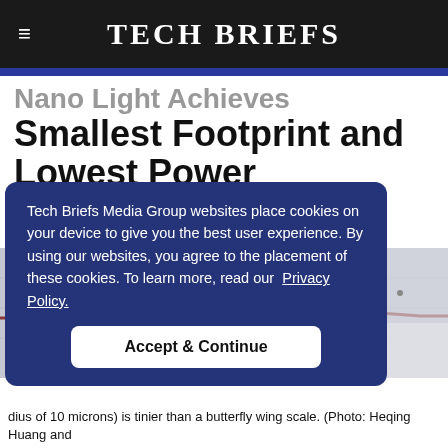Tech Briefs
Smallest Footprint and Lowest Power Consumption
[Figure (photo): Close-up photo of a micro-scale circuit or chip component on a light gray background, showing thin curved copper or red trace lines]
Tech Briefs Media Group websites place cookies on your device to give you the best user experience. By using our websites, you agree to the placement of these cookies. To learn more, read our Privacy Policy.
dius of 10 microns) is tinier than a butterfly wing scale. (Photo: Heqing Huang and